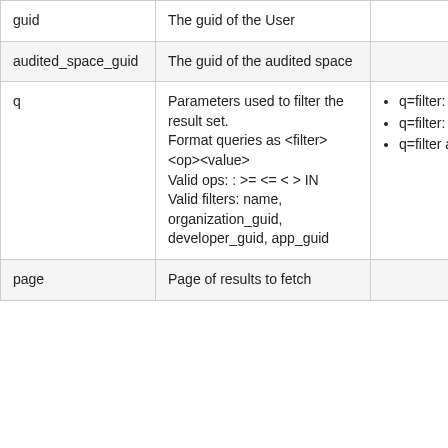| guid | The guid of the User |  |
| audited_space_guid | The guid of the audited space |  |
| q | Parameters used to filter the result set. Format queries as <filter><op><value> Valid ops: : >= <= < > IN Valid filters: name, organization_guid, developer_guid, app_guid | • q=filter:
• q=filter:
• q=filter a,b,c |
| page | Page of results to fetch |  |